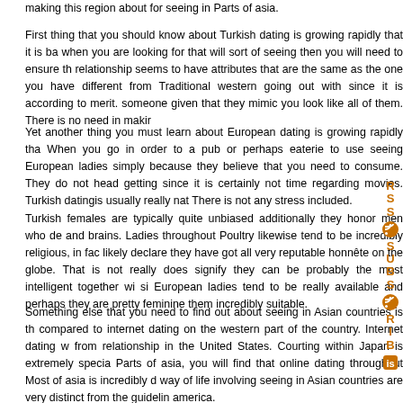making this region about for seeing in Parts of asia.
First thing that you should know about Turkish dating is growing rapidly that it is ba when you are looking for that will sort of seeing then you will need to ensure th relationship seems to have attributes that are the same as the one you have different from Traditional western going out with since it is according to merit. someone given that they mimic you look like all of them. There is no need in makir
Yet another thing you must learn about European dating is growing rapidly tha When you go in order to a pub or perhaps eaterie to use seeing European ladies simply because they believe that you need to consume. They do not head getting since it is certainly not time regarding movies. Turkish datingis usually really nat There is not any stress included.
Turkish females are typically quite unbiased additionally they honor men who de and brains. Ladies throughout Poultry likewise tend to be incredibly religious, in fac likely declare they have got all very reputable honnête on the globe. That is not really does signify they can be probably the most intelligent together wi si European ladies tend to be really available and perhaps they are pretty feminine them incredibly suitable.
Something else that you need to find out about seeing in Asian countries is th compared to internet dating on the western part of the country. Internet dating w from relationship in the United States. Courting within Japan is extremely specia Parts of asia, you will find that online dating throughout Most of asia is incredibly d way of life involving seeing in Asian countries are very distinct from the guidelin america.